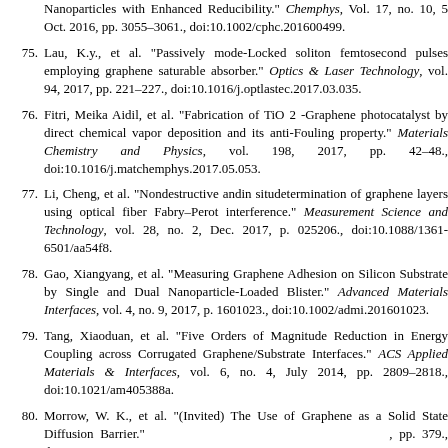Nanoparticles with Enhanced Reducibility. Chemphys, Vol. 17, no. 10, 5 Oct. 2016, pp. 3055–3061., doi:10.1002/cphc.201600499.
75. Lau, K.y., et al. "Passively mode-Locked soliton femtosecond pulses employing graphene saturable absorber." Optics & Laser Technology, vol. 94, 2017, pp. 221–227., doi:10.1016/j.optlastec.2017.03.035.
76. Fitri, Meika Aidil, et al. "Fabrication of TiO 2 -Graphene photocatalyst by direct chemical vapor deposition and its anti-Fouling property." Materials Chemistry and Physics, vol. 198, 2017, pp. 42–48., doi:10.1016/j.matchemphys.2017.05.053.
77. Li, Cheng, et al. "Nondestructive andin situdetermination of graphene layers using optical fiber Fabry–Perot interference." Measurement Science and Technology, vol. 28, no. 2, Dec. 2017, p. 025206., doi:10.1088/1361-6501/aa54f8.
78. Gao, Xiangyang, et al. "Measuring Graphene Adhesion on Silicon Substrate by Single and Dual Nanoparticle-Loaded Blister." Advanced Materials Interfaces, vol. 4, no. 9, 2017, p. 1601023., doi:10.1002/admi.201601023.
79. Tang, Xiaoduan, et al. "Five Orders of Magnitude Reduction in Energy Coupling across Corrugated Graphene/Substrate Interfaces." ACS Applied Materials & Interfaces, vol. 6, no. 4, July 2014, pp. 2809–2818., doi:10.1021/am405388a.
80. Morrow, W. K., et al. "(Invited) The Use of Graphene as a Solid State Diffusion Barrier." ... pp. 379., doi:10.1149/...
81. Zheng, Haisheng, et al. ... doping ... of single layer graphene: experimental corroboration between ...